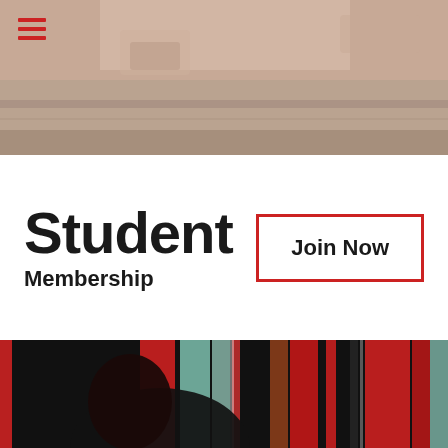[Figure (photo): Top photo of an urban street scene with road, curb, and a parked vehicle visible under warm/pink light]
[Figure (illustration): Red hamburger menu icon (three horizontal red lines) in top-left corner over the photo]
Student
Membership
Join Now
[Figure (photo): Bottom photo of a woman's silhouette in front of colorful vertical stripes of red, green, black and white light panels]